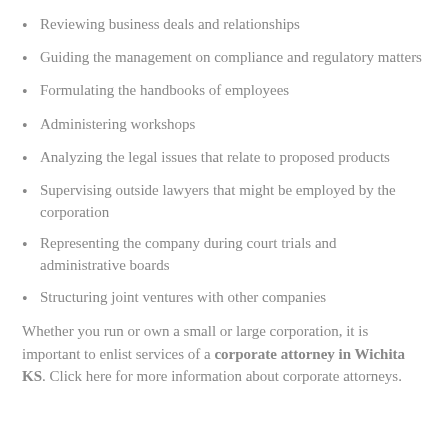Reviewing business deals and relationships
Guiding the management on compliance and regulatory matters
Formulating the handbooks of employees
Administering workshops
Analyzing the legal issues that relate to proposed products
Supervising outside lawyers that might be employed by the corporation
Representing the company during court trials and administrative boards
Structuring joint ventures with other companies
Whether you run or own a small or large corporation, it is important to enlist services of a corporate attorney in Wichita KS. Click here for more information about corporate attorneys.